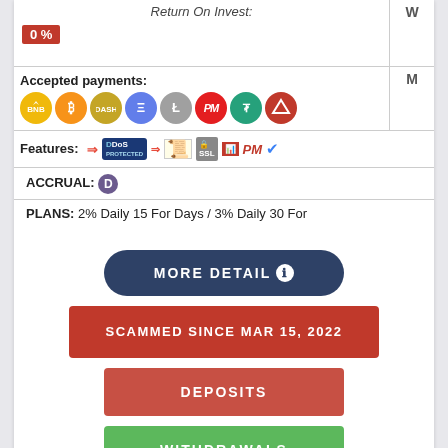| Return On Invest: | W |
| --- | --- |
| 0 % |  |
| Accepted payments: [BNB, BTC, DASH, ETH, LTC, PM, USDT, TRX] | M |
| Features: [DDoS, Script, SSL, Monitor, PM, Verified] |  |
| ACCRUAL: D |  |
| PLANS: 2% Daily 15 For Days / 3% Daily 30 For |  |
MORE DETAIL
SCAMMED SINCE MAR 15, 2022
DEPOSITS
WITHDRAWALS